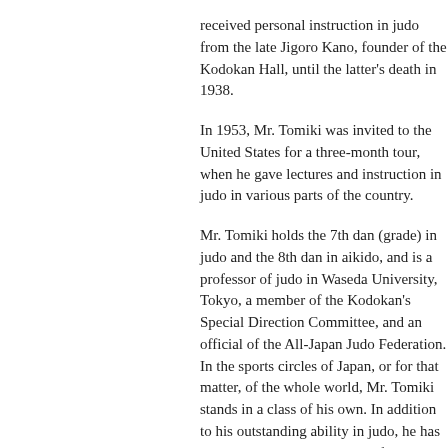received personal instruction in judo from the late Jigoro Kano, founder of the Kodokan Hall, until the latter's death in 1938.
In 1953, Mr. Tomiki was invited to the United States for a three-month tour, when he gave lectures and instruction in judo in various parts of the country.
Mr. Tomiki holds the 7th dan (grade) in judo and the 8th dan in aikido, and is a professor of judo in Waseda University, Tokyo, a member of the Kodokan's Special Direction Committee, and an official of the All-Japan Judo Federation. In the sports circles of Japan, or for that matter, of the whole world, Mr. Tomiki stands in a class of his own. In addition to his outstanding ability in judo, he has succeeded in making a scientific and educational systematization of various ancient arts like aikido (self-defense) which are outside the present general conception of judo but which can be included in judo itself in its broader sense.
His explanation of aikido, which is based on the Fundamental principles of judo...